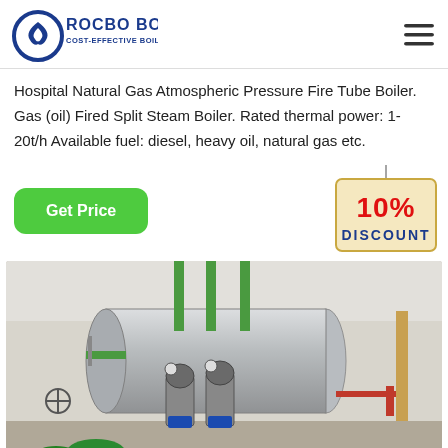ROCBO BOILER - COST-EFFECTIVE BOILER SUPPLIER
Hospital Natural Gas Atmospheric Pressure Fire Tube Boiler. Gas (oil) Fired Split Steam Boiler. Rated thermal power: 1-20t/h Available fuel: diesel, heavy oil, natural gas etc.
[Figure (infographic): Green 'Get Price' button and 10% DISCOUNT badge]
[Figure (photo): Industrial boiler installation in a plant room with stainless steel cylindrical boiler vessel, green piping, pumps and valves on white walls]